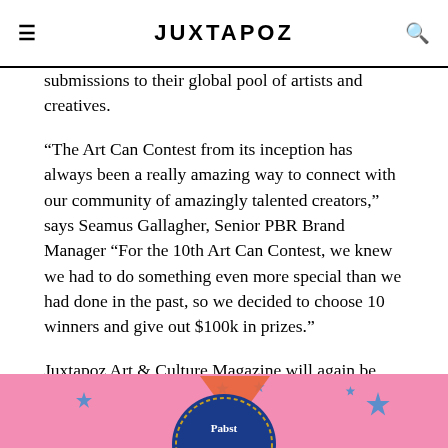JUXTAPOZ
submissions to their global pool of artists and creatives.
“The Art Can Contest from its inception has always been a really amazing way to connect with our community of amazingly talented creators,” says Seamus Gallagher, Senior PBR Brand Manager “For the 10th Art Can Contest, we knew we had to do something even more special than we had done in the past, so we decided to choose 10 winners and give out $100k in prizes.”
Juxtapoz Art & Culture Magazine will again be invited to help judge the process. As the underground art authority that for over 25 years has supported and documented emerging artists and communities that have been overlooked by the mainstream and commercial art industry, Juxtapoz is a kindred spirit of Pabst Blue Ribbon, and will support the winning artists with exclusive editorial profiles.
[Figure (illustration): Pink background promotional image with sparkle/star decorations in blue and an orange triangle shape, partially showing the Pabst Blue Ribbon logo at the bottom.]